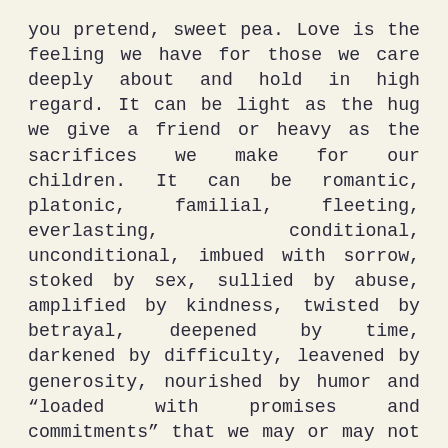you pretend, sweet pea. Love is the feeling we have for those we care deeply about and hold in high regard. It can be light as the hug we give a friend or heavy as the sacrifices we make for our children. It can be romantic, platonic, familial, fleeting, everlasting, conditional, unconditional, imbued with sorrow, stoked by sex, sullied by abuse, amplified by kindness, twisted by betrayal, deepened by time, darkened by difficulty, leavened by generosity, nourished by humor and “loaded with promises and commitments” that we may or may not want or keep. The best thing you can possibly do